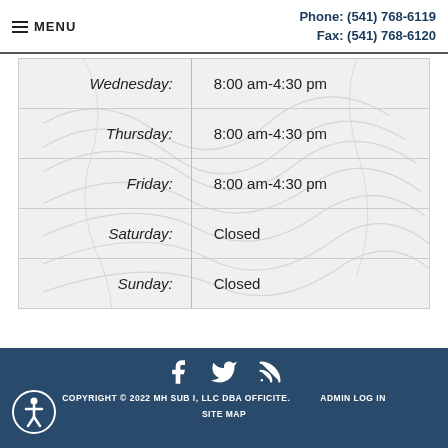MENU | Phone: (541) 768-6119 Fax: (541) 768-6120
| Day | Hours |
| --- | --- |
| Wednesday: | 8:00 am-4:30 pm |
| Thursday: | 8:00 am-4:30 pm |
| Friday: | 8:00 am-4:30 pm |
| Saturday: | Closed |
| Sunday: | Closed |
COPYRIGHT © 2022 MH SUB I, LLC DBA OFFICITE. ADMIN LOG IN SITE MAP